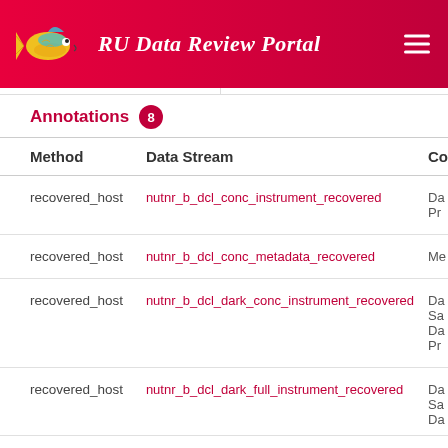RU Data Review Portal
Annotations 8
| Method | Data Stream | Co |
| --- | --- | --- |
| recovered_host | nutnr_b_dcl_conc_instrument_recovered | Da
Pr |
| recovered_host | nutnr_b_dcl_conc_metadata_recovered | Me |
| recovered_host | nutnr_b_dcl_dark_conc_instrument_recovered | Da
Sa
Da
Pr |
| recovered_host | nutnr_b_dcl_dark_full_instrument_recovered | Da
Sa
Da |